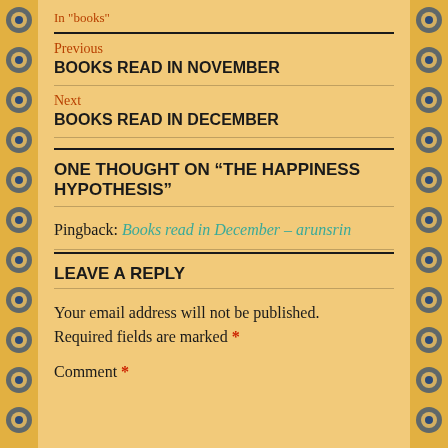In "books"
Previous
BOOKS READ IN NOVEMBER
Next
BOOKS READ IN DECEMBER
ONE THOUGHT ON “THE HAPPINESS HYPOTHESIS”
Pingback: Books read in December – arunsrin
LEAVE A REPLY
Your email address will not be published. Required fields are marked *
Comment *